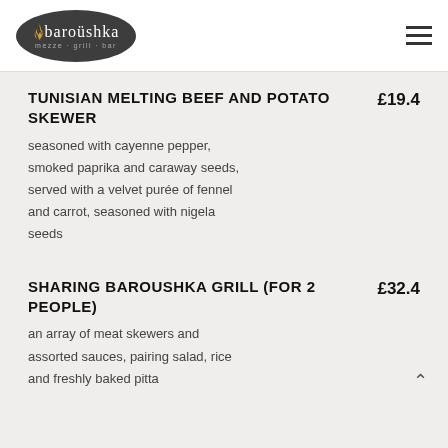[Figure (logo): Baroushka restaurant logo — dark oval with flame icon and text 'baroushka · mezze · grill · bar']
TUNISIAN MELTING BEEF AND POTATO SKEWER
£19.4
seasoned with cayenne pepper, smoked paprika and caraway seeds, served with a velvet purée of fennel and carrot, seasoned with nigela seeds
SHARING BAROUSHKA GRILL (FOR 2 PEOPLE)
£32.4
an array of meat skewers and assorted sauces, pairing salad, rice and freshly baked pitta